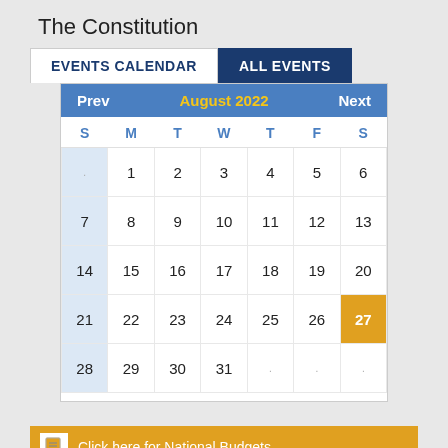The Constitution
| S | M | T | W | T | F | S |
| --- | --- | --- | --- | --- | --- | --- |
| . | 1 | 2 | 3 | 4 | 5 | 6 |
| 7 | 8 | 9 | 10 | 11 | 12 | 13 |
| 14 | 15 | 16 | 17 | 18 | 19 | 20 |
| 21 | 22 | 23 | 24 | 25 | 26 | 27 |
| 28 | 29 | 30 | 31 | . | . | . |
Click here for National Budgets
SEE BUDGET SPEECHES HERE